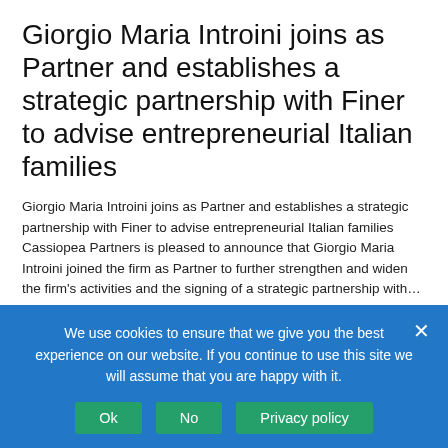Giorgio Maria Introini joins as Partner and establishes a strategic partnership with Finer to advise entrepreneurial Italian families
Giorgio Maria Introini joins as Partner and establishes a strategic partnership with Finer to advise entrepreneurial Italian families Cassiopea Partners is pleased to announce that Giorgio Maria Introini joined the firm as Partner to further strengthen and widen the firm's activities and the signing of a strategic partnership with...
Continue reading
We use cookies to ensure that we give you the best experience on our website. If you continue to use this site we will assume that you are happy with it.
Ok
No
Privacy policy